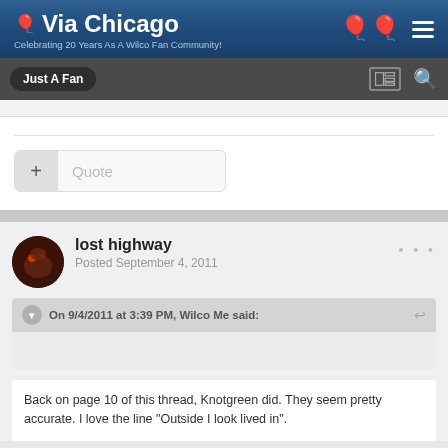Via Chicago — Celebrating 20 Years As A Wilco Fan Community!
Just A Fan
+ Quote
lost highway
Posted September 4, 2011
On 9/4/2011 at 3:39 PM, Wilco Me said:
Back on page 10 of this thread, Knotgreen did. They seem pretty accurate. I love the line "Outside I look lived in".